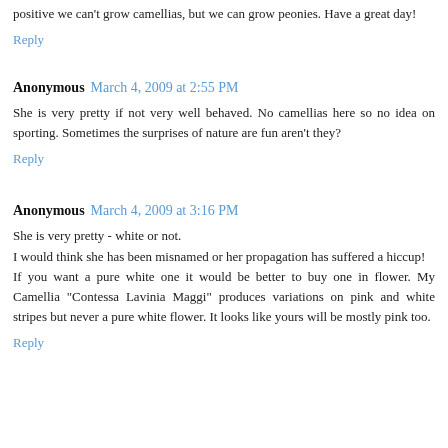positive we can't grow camellias, but we can grow peonies. Have a great day!
Reply
Anonymous March 4, 2009 at 2:55 PM
She is very pretty if not very well behaved. No camellias here so no idea on sporting. Sometimes the surprises of nature are fun aren't they?
Reply
Anonymous March 4, 2009 at 3:16 PM
She is very pretty - white or not.
I would think she has been misnamed or her propagation has suffered a hiccup!
If you want a pure white one it would be better to buy one in flower. My Camellia "Contessa Lavinia Maggi" produces variations on pink and white stripes but never a pure white flower. It looks like yours will be mostly pink too.
Reply